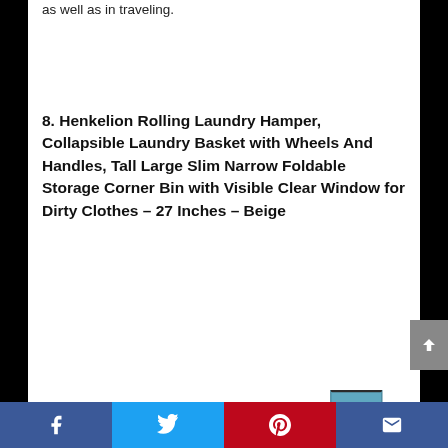as well as in traveling.
8. Henkelion Rolling Laundry Hamper, Collapsible Laundry Basket with Wheels And Handles, Tall Large Slim Narrow Foldable Storage Corner Bin with Visible Clear Window for Dirty Clothes – 27 Inches – Beige
[Figure (photo): Two product images of laundry hampers/baskets at the bottom of the page]
[Figure (other): Social media sharing bar with Facebook, Twitter, Pinterest, and email buttons at the bottom]